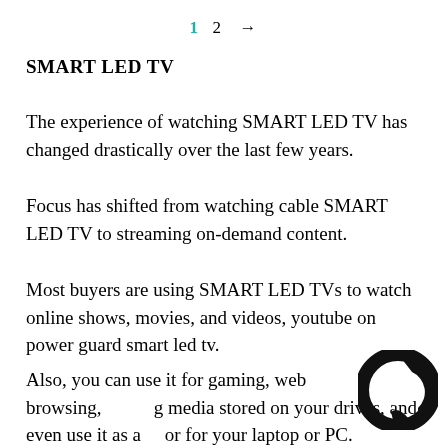1  2  →
SMART LED TV
The experience of watching SMART LED TV has changed drastically over the last few years.
Focus has shifted from watching cable SMART LED TV to streaming on-demand content.
Most buyers are using SMART LED TVs to watch online shows, movies, and videos, youtube on power guard smart led tv.
Also, you can use it for gaming, web browsing, viewing media stored on your drives, and even use it as a monitor for your laptop or PC.
[Figure (logo): Circular black logo/icon in the bottom-right area, partially overlapping the last paragraph text.]